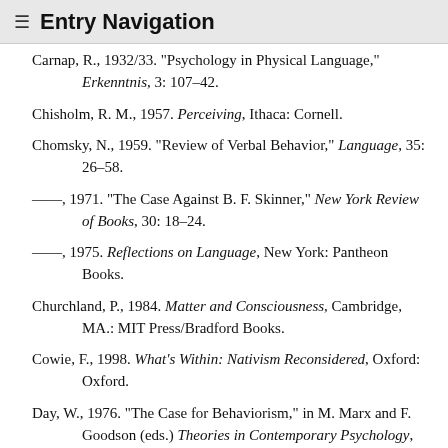≡ Entry Navigation
Carnap, R., 1932/33. "Psychology in Physical Language," Erkenntnis, 3: 107–42.
Chisholm, R. M., 1957. Perceiving, Ithaca: Cornell.
Chomsky, N., 1959. "Review of Verbal Behavior," Language, 35: 26–58.
——, 1971. "The Case Against B. F. Skinner," New York Review of Books, 30: 18–24.
——, 1975. Reflections on Language, New York: Pantheon Books.
Churchland, P., 1984. Matter and Consciousness, Cambridge, MA.: MIT Press/Bradford Books.
Cowie, F., 1998. What's Within: Nativism Reconsidered, Oxford: Oxford.
Day, W., 1976. "The Case for Behaviorism," in M. Marx and F. Goodson (eds.) Theories in Contemporary Psychology, New York: Macmillan, pp. 534–45.
Dennett, D., 1978. "Why the Law of Effect Will Not Go Away", in D. Dennett (ed.) Brainstorms, Cambridge,